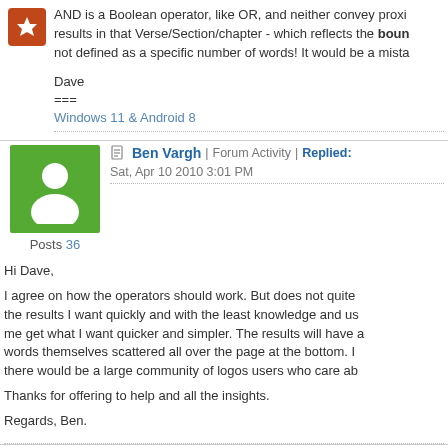AND is a Boolean operator, like OR, and neither convey proximity. results in that Verse/Section/chapter - which reflects the boun not defined as a specific number of words! It would be a mista
Dave
===
Windows 11 & Android 8
Ben Vargh | Forum Activity | Replied: Sat, Apr 10 2010 3:01 PM
Hi Dave,

I agree on how the operators should work. But does not quite the results I want quickly and with the least knowledge and us me get what I want quicker and simpler. The results will have words themselves scattered all over the page at the bottom. I there would be a large community of logos users who care ab

Thanks for offering to help and all the insights.

Regards, Ben.
Page 1 of 1 (9 items) | RSS
Copyright Fait